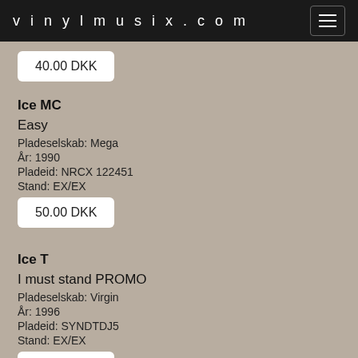vinylmusix.com
40.00 DKK
Ice MC
Easy
Pladeselskab: Mega
År: 1990
Pladeid: NRCX 122451
Stand: EX/EX
50.00 DKK
Ice T
I must stand PROMO
Pladeselskab: Virgin
År: 1996
Pladeid: SYNDTDJ5
Stand: EX/EX
40.00 DKK